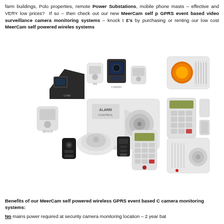farm buildings, Polo properties, remote Power Substations, mobile phone masts – effective and VERY low prices? If so – then check out our new MeerCam self powered GPRS event based video surveillance camera monitoring systems – knock thousands off £'s by purchasing or renting our low cost MeerCam self powered wireless monitoring systems
[Figure (photo): Photo of a collection of wireless security alarm system components including motion sensors, cameras, a main control panel, keypad, siren/strobe unit, door/window contacts, smoke detector, remote controls, and an indoor sounder.]
Benefits of our MeerCam self powered wireless GPRS event based CCTV security camera monitoring systems: No mains power required at security camera monitoring location – 2 year bat...